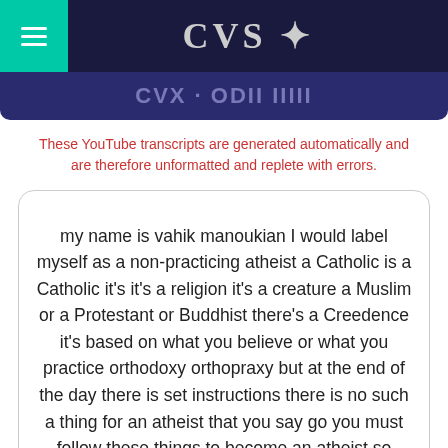CVS
These YouTube transcripts are generated automatically and are therefore unformatted and replete with errors.
my name is vahik manoukian I would label myself as a non-practicing atheist a Catholic is a Catholic it's it's a religion it's a creature a Muslim or a Protestant or Buddhist there's a Creedence it's based on what you believe or what you practice orthodoxy orthopraxy but at the end of the day there is set instructions there is no such a thing for an atheist that you say go you must follow these things to become an atheist so many people can label themselves as atheists one thing that binds atheists let's say is the belief that there is no God it's just matter and energy and that's it